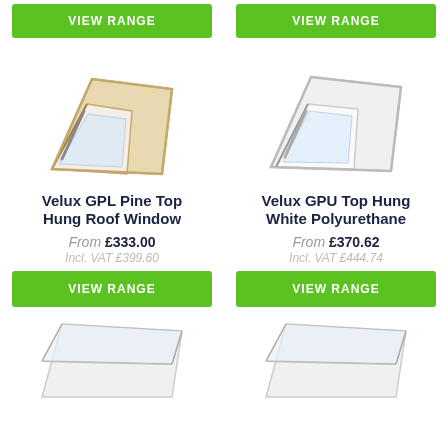[Figure (screenshot): Top row: two VIEW RANGE green buttons, partially visible at top of page]
[Figure (photo): Velux GPL Pine Top Hung Roof Window product image - wooden frame roof window open at top]
Velux GPL Pine Top Hung Roof Window
From £333.00
Incl. VAT £399.60
[Figure (other): VIEW RANGE green button for GPL Pine]
[Figure (photo): Velux GPU Top Hung White Polyurethane product image - white frame roof window open at top]
Velux GPU Top Hung White Polyurethane
From £370.62
Incl. VAT £444.74
[Figure (other): VIEW RANGE green button for GPU White Polyurethane]
[Figure (photo): Bottom left: partially visible roof window product image]
[Figure (photo): Bottom right: partially visible roof window product image]